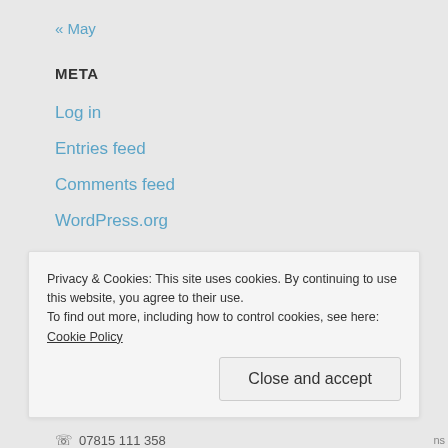« May
META
Log in
Entries feed
Comments feed
WordPress.org
CONTACT INFO
Privacy & Cookies: This site uses cookies. By continuing to use this website, you agree to their use.
To find out more, including how to control cookies, see here: Cookie Policy
Close and accept
07815 111 358